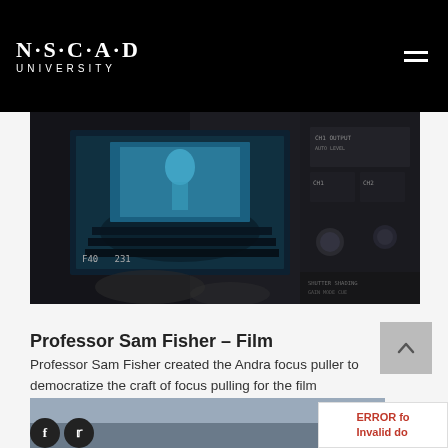NSCAD UNIVERSITY
[Figure (photo): Close-up of a professional film camera showing the viewfinder screen with a scene of people and an audience, plus camera controls and dials. Dark, teal-tinted image.]
Professor Sam Fisher – Film
Professor Sam Fisher created the Andra focus puller to democratize the craft of focus pulling for the film industry. Learn More →
[Figure (photo): Partially visible photo at the bottom of the page, appears to show an outdoor or sky scene, with social media icons (Facebook, Twitter) overlaid at the bottom right.]